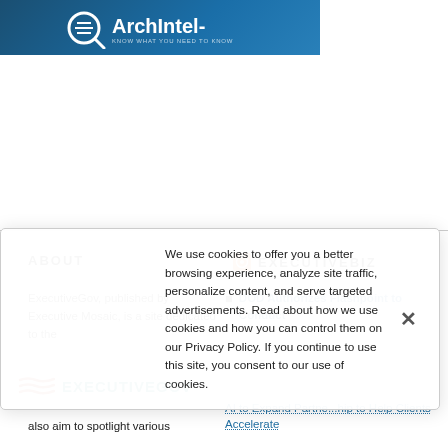[Figure (logo): ArchIntel logo on dark blue banner background with magnifying glass icon]
ABOUT
EXECUTIVEBIZ
ExecutiveGov, published by Executive Mosaic, is a site dedicated to the government
DOD Authorizes Flashpoint to Conduct
[Figure (logo): ExecutiveGov logo with red wavy lines and teal text]
also aim to spotlight various
AI to Expand Partne...hip to Help Clients Accelerate
We use cookies to offer you a better browsing experience, analyze site traffic, personalize content, and serve targeted advertisements. Read about how we use cookies and how you can control them on our Privacy Policy. If you continue to use this site, you consent to our use of cookies.